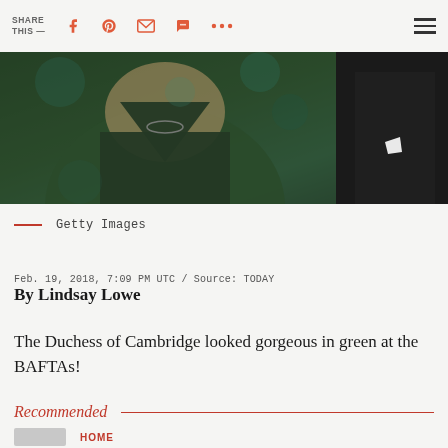SHARE THIS —
[Figure (photo): Photo of a woman in a dark green off-shoulder dress with an emerald necklace, and a man in a dark suit with white pocket square, at the BAFTAs]
Getty Images
Feb. 19, 2018, 7:09 PM UTC / Source: TODAY
By Lindsay Lowe
The Duchess of Cambridge looked gorgeous in green at the BAFTAs!
Recommended
HOME